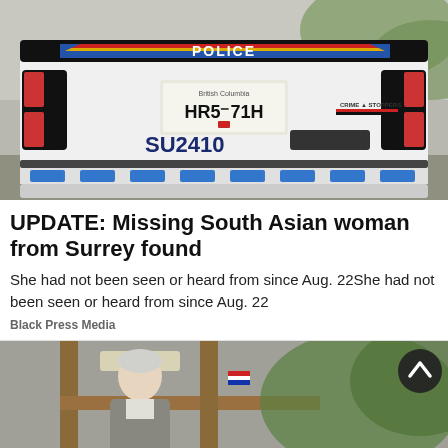[Figure (photo): Rear view of a Surrey RCMP police SUV with license plate HR5 71H, unit number SU2410, Crime Stoppers decal, blue and white chevron bumper pattern, and POLICE sign with Canadian red, yellow, blue stripe across the top.]
UPDATE: Missing South Asian woman from Surrey found
She had not been seen or heard from since Aug. 22She had not been seen or heard from since Aug. 22
Black Press Media
[Figure (photo): Partial photo of an elderly white-haired man standing indoors near a wooden frame structure with a small flag visible, and green foliage in the background. A dark circular scroll-up button appears in the top right.]